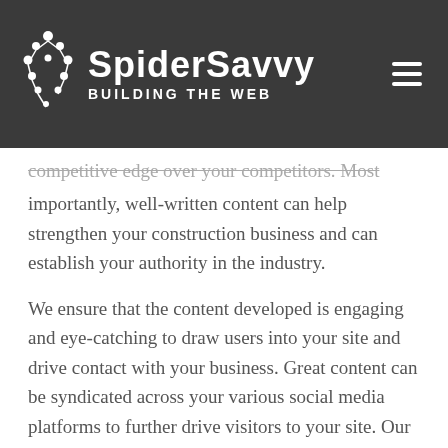[Figure (logo): SpiderSavvy logo with spider web icon on left, brand name 'SpiderSavvy' in white bold text, tagline 'Building the Web' below in spaced caps, all on dark gray background with hamburger menu icon on right]
competitive edge over your competitors. Most importantly, well-written content can help strengthen your construction business and can establish your authority in the industry.
We ensure that the content developed is engaging and eye-catching to draw users into your site and drive contact with your business. Great content can be syndicated across your various social media platforms to further drive visitors to your site. Our professional